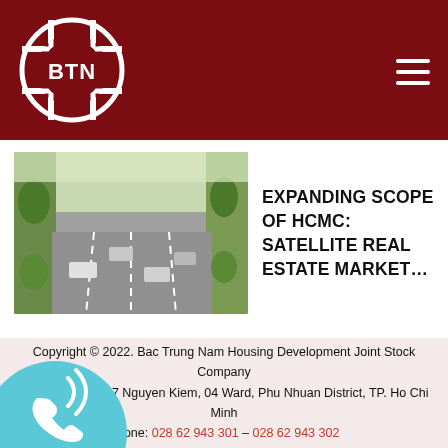BTN logo and navigation header
[Figure (photo): Aerial/roadside photo of a multi-lane highway with trees and vehicles]
EXPANDING SCOPE OF HCMC: SATELLITE REAL ESTATE MARKET…
Copyright © 2022. Bac Trung Nam Housing Development Joint Stock Company
Address: 778K/17 Nguyen Kiem, 04 Ward, Phu Nhuan District, TP. Ho Chi Minh
Phone: 028 62 943 301 – 028 62 943 302
Email: bactrungnam@bactrungnam.com.vn
Fax: 028 62 943 303